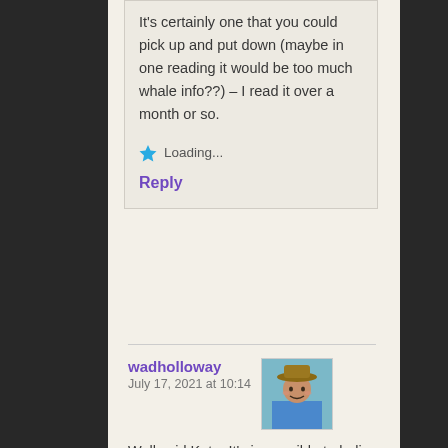It's certainly one that you could pick up and put down (maybe in one reading it would be too much whale info??) – I read it over a month or so.
Loading...
Reply
wadholloway
July 17, 2021 at 10:14
[Figure (photo): Avatar photo of commenter wadholloway — person wearing a hat, outdoor setting]
Well said Kate. It's impossible to believe